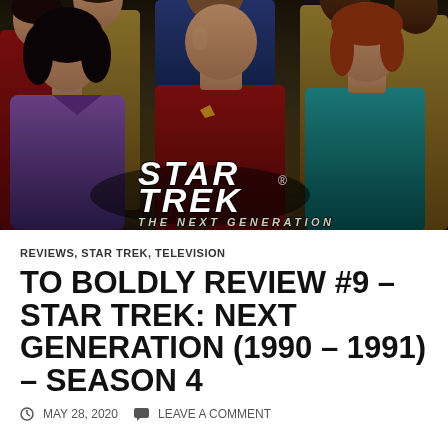[Figure (photo): Promotional cast photo for Star Trek: The Next Generation showing main cast members in their uniforms on the bridge set, with the Star Trek The Next Generation logo overlay at the bottom of the image.]
REVIEWS, STAR TREK, TELEVISION
TO BOLDLY REVIEW #9 – STAR TREK: NEXT GENERATION (1990 – 1991) – SEASON 4
MAY 28, 2020   LEAVE A COMMENT